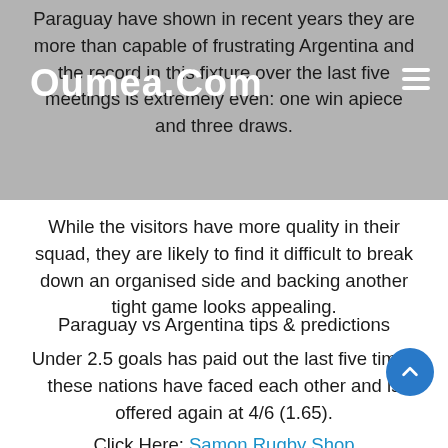Oumea.Com
Paraguay have shown in recent years they are more than capable of frustrating Argentina and the record in this fixture over the last five meetings is extremely even: one win apiece and three draws.
While the visitors have more quality in their squad, they are likely to find it difficult to break down an organised side and backing another tight game looks appealing.
Paraguay vs Argentina tips & predictions
Under 2.5 goals has paid out the last five times these nations have faced each other and is offered again at 4/6 (1.65).
Click Here: Samon Rugby Shop
Combining this selection with both teams to score 'no' sees the odds rise to an appealing evens (2.00).
Odds correct at the time of writing. Please gamble